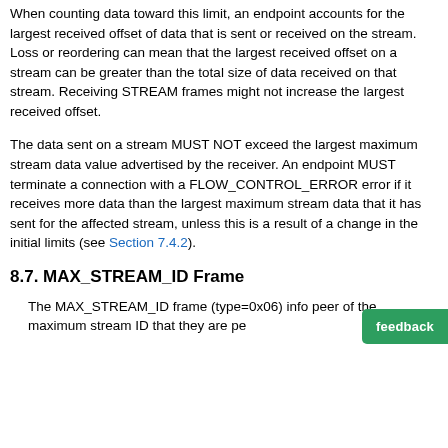When counting data toward this limit, an endpoint accounts for the largest received offset of data that is sent or received on the stream. Loss or reordering can mean that the largest received offset on a stream can be greater than the total size of data received on that stream. Receiving STREAM frames might not increase the largest received offset.
The data sent on a stream MUST NOT exceed the largest maximum stream data value advertised by the receiver. An endpoint MUST terminate a connection with a FLOW_CONTROL_ERROR error if it receives more data than the largest maximum stream data that it has sent for the affected stream, unless this is a result of a change in the initial limits (see Section 7.4.2).
8.7. MAX_STREAM_ID Frame
The MAX_STREAM_ID frame (type=0x06) informs a peer of the maximum stream ID that they are permitted...